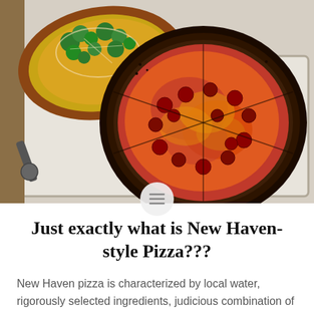[Figure (photo): Overhead photo of two New Haven-style pizzas on a metal tray. The main pizza in the center/right is a round pizza with charred crust, red tomato sauce, melted cheese, and sausage/pepperoni toppings. A second pizza in the upper left has broccoli and cheese toppings. A pizza cutter is partially visible on the left side.]
Just exactly what is New Haven-style Pizza???
New Haven pizza is characterized by local water, rigorously selected ingredients, judicious combination of those